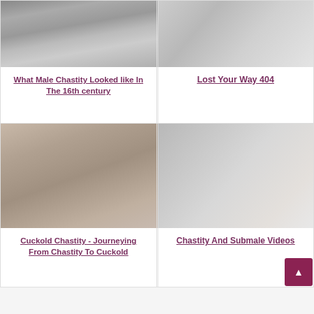[Figure (photo): Gray-toned photo of person in white lingerie with padlock]
What Male Chastity Looked like In The 16th century
[Figure (photo): Silver metal chastity device close-up photo]
Lost Your Way 404
[Figure (photo): Sepia-toned photo of couple on bed]
Cuckold Chastity - Journeying From Chastity To Cuckold
[Figure (photo): Silver metal chastity cage device with gold padlock close-up]
Chastity And Submale Videos